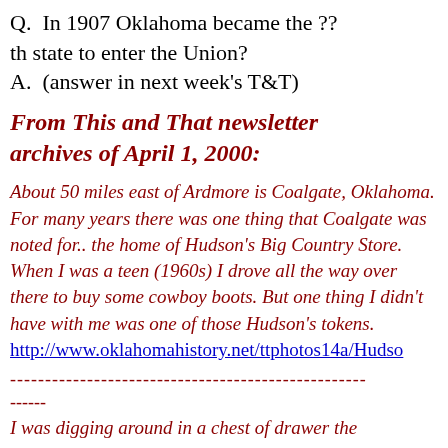Q.  In 1907 Oklahoma became the ?? th state to enter the Union?
A.  (answer in next week's T&T)
From This and That newsletter archives of April 1, 2000:
About 50 miles east of Ardmore is Coalgate, Oklahoma. For many years there was one thing that Coalgate was noted for.. the home of Hudson's Big Country Store. When I was a teen (1960s) I drove all the way over there to buy some cowboy boots. But one thing I didn't have with me was one of those Hudson's tokens.
http://www.oklahomahistory.net/ttphotos14a/Hudson
---------------------------------------------------
------
I was digging around in a chest of drawer the